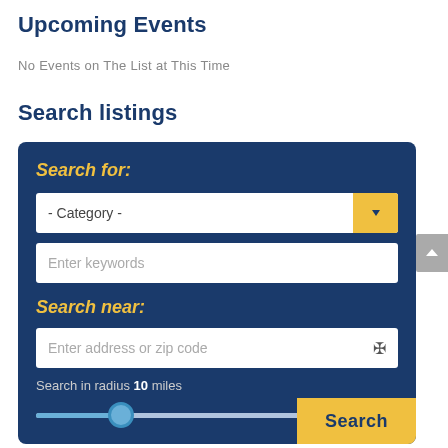Upcoming Events
No Events on The List at This Time
Search listings
[Figure (screenshot): Search listings UI widget with dark blue background. Contains 'Search for:' label in italic yellow, a category dropdown with yellow arrow button, a keywords text input, 'Search near:' label in italic yellow, an address/zip code input with location icon, a radius slider set to 10 miles, and a yellow Search button.]